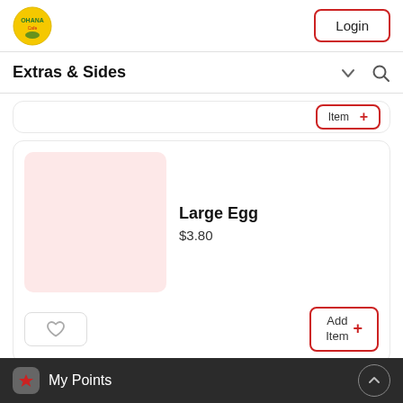[Figure (logo): Ohana Cafe circular logo with yellow and green colors]
Login
Extras & Sides
[Figure (screenshot): Partially visible menu item card with Add Item button]
[Figure (photo): Large Egg menu item card with pink placeholder image, price $3.80, favorite heart button, and Add Item button]
Large Egg
$3.80
My Points